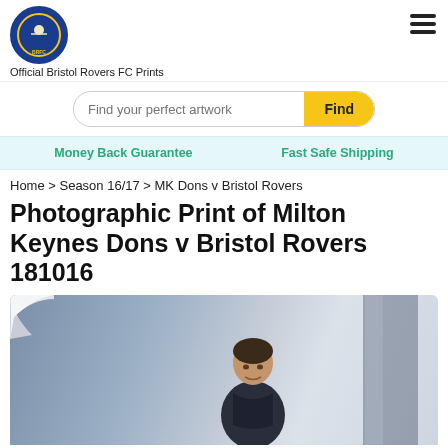Official Bristol Rovers FC Prints
Find your perfect artwork
Money Back Guarantee   Fast Safe Shipping
Home > Season 16/17 > MK Dons v Bristol Rovers
Photographic Print of Milton Keynes Dons v Bristol Rovers 181016
[Figure (photo): Photo of a man in a dark jacket standing on a football pitch sideline, blurred background]